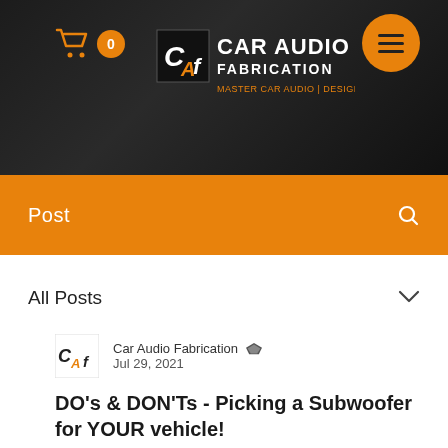[Figure (screenshot): Car Audio Fabrication website header with dark car interior background, orange shopping cart icon with 0 count, CAF logo with 'FABRICATION' and 'MASTER CAR AUDIO / DESIGN, BUILD, SELL', orange hamburger menu circle]
Post
All Posts
Car Audio Fabrication  Jul 29, 2021
DO's & DON'Ts - Picking a Subwoofer for YOUR vehicle!